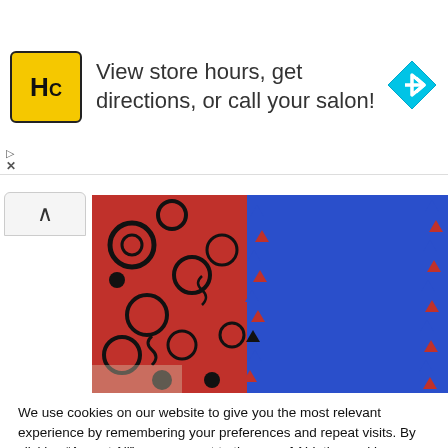[Figure (infographic): Advertisement banner with HC salon logo (yellow square with HC letters), text 'View store hours, get directions, or call your salon!', and a blue navigation arrow diamond icon on the right.]
[Figure (photo): Close-up photo of a fleece tie blanket with red fabric featuring black circle patterns on the left side and solid blue fleece on the right side, connected with tied knots along the edge.]
We use cookies on our website to give you the most relevant experience by remembering your preferences and repeat visits. By clicking “Accept All”, you consent to the use of ALL the cookies. However, you may visit "Cookie Settings" to provide a controlled consent.